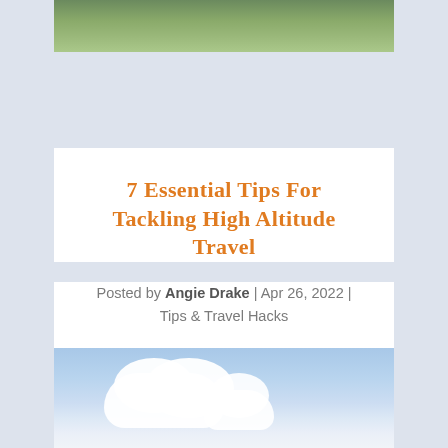[Figure (photo): Partial nature/tree photo at top of page, cropped]
7 Essential Tips for Tackling High Altitude Travel
Posted by Angie Drake | Apr 26, 2022 | Tips & Travel Hacks
[Figure (photo): Blue sky with white clouds at bottom of page]